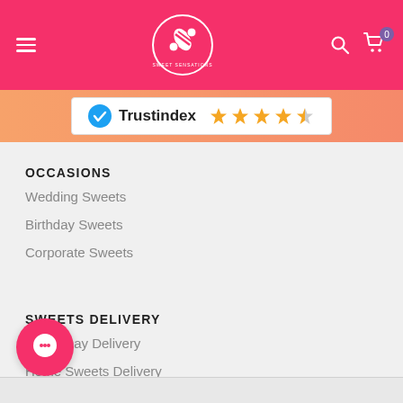Sweet Sensations navigation header with hamburger menu, logo, search and cart icons
[Figure (screenshot): Trustindex rating badge with 5 orange stars]
OCCASIONS
Wedding Sweets
Birthday Sweets
Corporate Sweets
SWEETS DELIVERY
Same Day Delivery
Home Sweets Delivery
Delivery